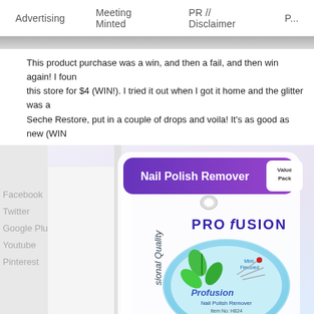Advertising   Meeting Minted   PR // Disclaimer   P...
This product purchase was a win, and then a fail, and then win again! I found this store for $4 (WIN!). I tried it out when I got it home and the glitter was a... Seche Restore, put in a couple of drops and voila! It's as good as new (WIN...
[Figure (photo): Photo of a Profusion Nail Polish Remover Value Pack product in blister packaging, showing a round container with mint-flavored nail polish remover, green mint leaf graphic, and text 'Profusion Nail Polish Remover Item No: H824'. Social media links (Facebook, Twitter, Google Plus, Youtube, Pinterest) visible on the left side.]